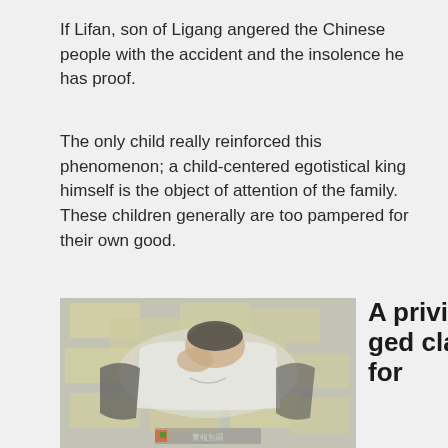If Lifan, son of Ligang angered the Chinese people with the accident and the insolence he has proof.
The only child really reinforced this phenomenon; a child-centered egotistical king himself is the object of attention of the family.
These children generally are too pampered for their own good.
[Figure (photo): A person lying on a bed of Chinese yuan banknotes, wearing a white t-shirt, with a watermark at the bottom.]
A privileged class for